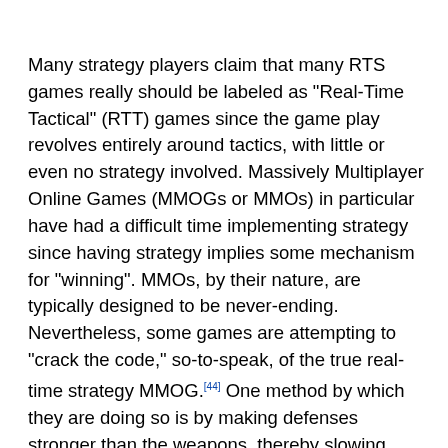Many strategy players claim that many RTS games really should be labeled as "Real-Time Tactical" (RTT) games since the game play revolves entirely around tactics, with little or even no strategy involved. Massively Multiplayer Online Games (MMOGs or MMOs) in particular have had a difficult time implementing strategy since having strategy implies some mechanism for "winning". MMOs, by their nature, are typically designed to be never-ending. Nevertheless, some games are attempting to "crack the code," so-to-speak, of the true real-time strategy MMOG.[44] One method by which they are doing so is by making defenses stronger than the weapons, thereby slowing down combat considerably and making it possible for players to more carefully consider their actions during a confrontation. Customizable units are another way of adding strategic elements, as long as players are truly able to influence the capabilities of their units. The industry is seeking to present new candidates worthy of being known for "thought strategy" rather than "dexterity strategy".